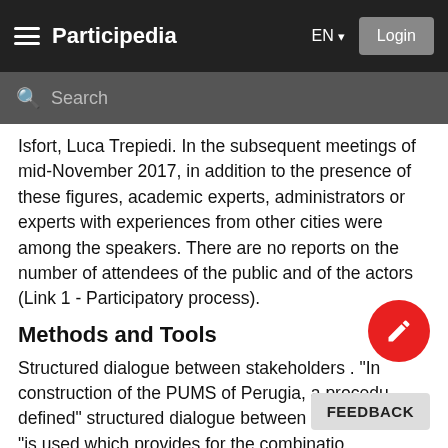Participedia  EN  Login
Isfort, Luca Trepiedi. In the subsequent meetings of mid-November 2017, in addition to the presence of these figures, academic experts, administrators or experts with experiences from other cities were among the speakers. There are no reports on the number of attendees of the public and of the actors (Link 1 - Participatory process).
Methods and Tools
Structured dialogue between stakeholders . "In construction of the PUMS of Perugia, a procedure defined" structured dialogue between stakeholders "is used which provides for the combination comparison and evaluation of the altern